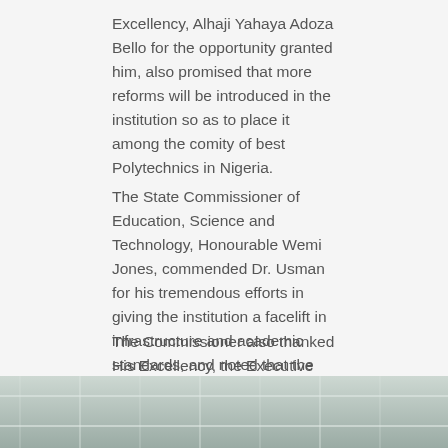Excellency, Alhaji Yahaya Adoza Bello for the opportunity granted him, also promised that more reforms will be introduced in the institution so as to place it among the comity of best Polytechnics in Nigeria.
The State Commissioner of Education, Science and Technology, Honourable Wemi Jones, commended Dr. Usman for his tremendous efforts in giving the institution a facelift in infrastructure and academic standards, and noted that the successful accreditation by the institution was the mother of all for the state owned tertiary institutions.
The Commissioner also thanked His Excellency, the Executive Governor of Kogi State, Alhaji Yahaya Adoza Bello for making the success possible.
[Figure (photo): Partial view of a building interior or ceiling structure, appearing as a grey/teal architectural photo strip at the bottom of the page]